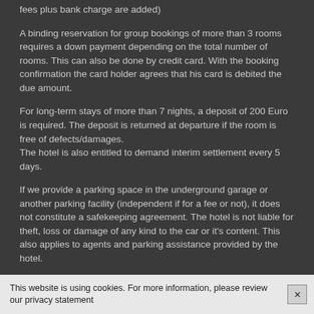fees plus bank charge are added)
A binding reservation for group bookings of more than 3 rooms requires a down payment depending on the total number of rooms. This can also be done by credit card. With the booking confirmation the card holder agrees that his card is debited the due amount.
For long-term stays of more than 7 nights, a deposit of 200 Euro is required. The deposit is returned at departure if the room is free of defects/damages.
The hotel is also entitled to demand interim settlement every 5 days.
If we provide a parking space in the underground garage or another parking facility (independent if for a fee or not), it does not constitute a safekeeping agreement. The hotel is not liable for theft, loss or damage of any kind to the car or it's content. This also applies to agents and parking assistance provided by the hotel.
1. The accommodation is available at 3 pm on the day of arrival
This website is using cookies. For more information, please review our privacy statement